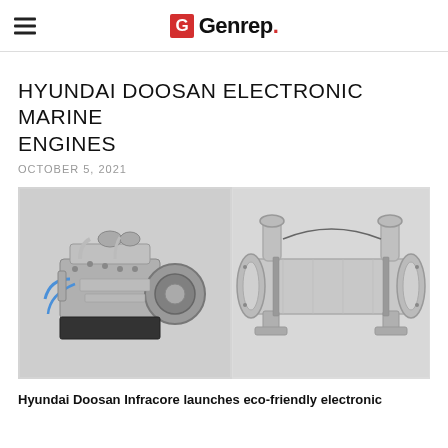Genrep
HYUNDAI DOOSAN ELECTRONIC MARINE ENGINES
OCTOBER 5, 2021
[Figure (photo): Two product images side by side: left shows a Hyundai Doosan marine engine (complex mechanical assembly in silver/black), right shows a cylindrical chrome/silver marine exhaust or heat exchanger component with two end flanges and mounting legs.]
Hyundai Doosan Infracore launches eco-friendly electronic